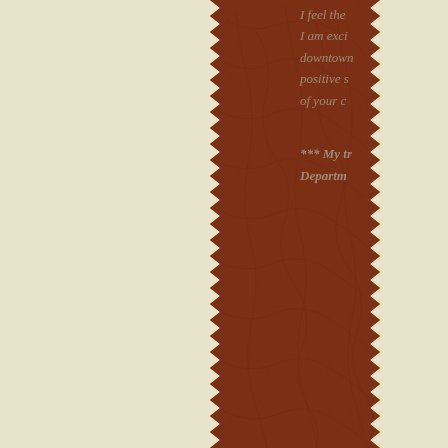[Figure (illustration): A leather fabric swatch sample with zigzag/pinking-shear cut edges on left and right sides, reddish-brown color with natural grain texture, positioned vertically in the center of the page against a cream/beige background.]
I feel the... I am exci... downtown... positive s... of your c...
*** My tr... Departm...